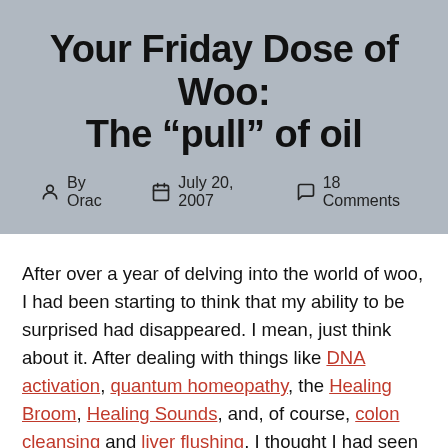Your Friday Dose of Woo: The “pull” of oil
By Orac   July 20, 2007   18 Comments
After over a year of delving into the world of woo, I had been starting to think that my ability to be surprised had disappeared. I mean, just think about it. After dealing with things like DNA activation, quantum homeopathy, the Healing Broom, Healing Sounds, and, of course, colon cleansing and liver flushing, I thought I had seen it all. However, another thing I’ve learned is that the most amusing woo is not necessarily the battiest. Sure the DNA activation guy and Lionel Milgrom can put out